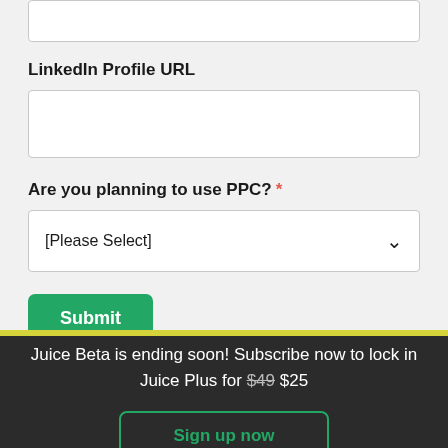[input box top]
LinkedIn Profile URL
[text input field]
Are you planning to use PPC? *
[Please Select] (dropdown)
Submit
Juice Beta is ending soon! Subscribe now to lock in Juice Plus for $49 $25
Sign up now